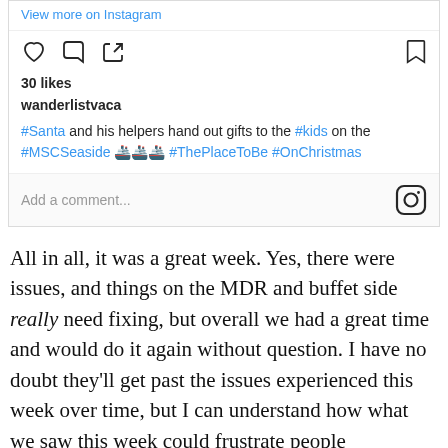[Figure (screenshot): Instagram post UI showing action bar with like, comment, share icons and bookmark icon, 30 likes count, username wanderlistvaca, caption with hashtags #Santa #kids #MSCSeaside #ThePlaceToBe #OnChristmas, and add a comment bar with Instagram logo]
All in all, it was a great week. Yes, there were issues, and things on the MDR and buffet side really need fixing, but overall we had a great time and would do it again without question. I have no doubt they'll get past the issues experienced this week over time, but I can understand how what we saw this week could frustrate people considering it was a Christmas